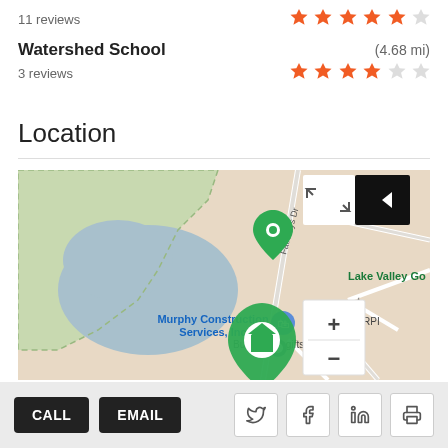11 reviews
Watershed School  (4.68 mi)
3 reviews
Location
[Figure (map): Street map showing location with green home marker pin, nearby landmarks including Murphy Construction Services Inc, Bunkhouse gifts, Lake Valley Dr, Lake Valley Go, Fairways Dr, Niblick Dr. Map controls include zoom in/out buttons and expand icon.]
CALL  EMAIL  (social share buttons: Twitter, Facebook, LinkedIn, Print)